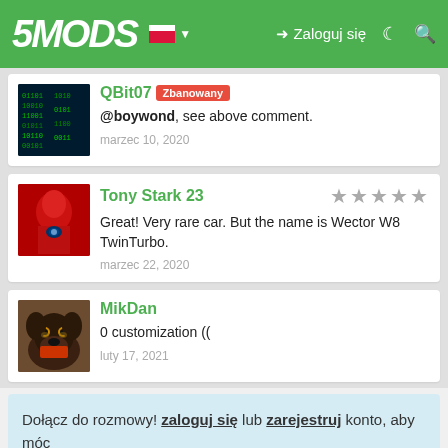5MODS | Zaloguj się
QBit07 [Zbanowany] @boywond, see above comment. marzec 10, 2020
Tony Stark 23 ★★★★★ Great! Very rare car. But the name is Wector W8 TwinTurbo. marzec 22, 2020
MikDan 0 customization (( luty 17, 2021
Dołącz do rozmowy! zaloguj się lub zarejestruj konto, aby móc komentować. X